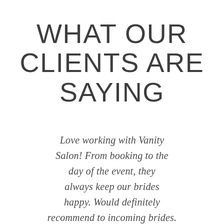WHAT OUR CLIENTS ARE SAYING
Love working with Vanity Salon! From booking to the day of the event, they always keep our brides happy. Would definitely recommend to incoming brides.